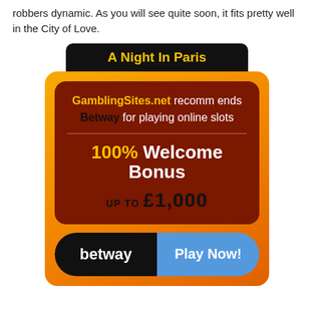robbers dynamic. As you will see quite soon, it fits pretty well in the City of Love.
[Figure (infographic): Betway casino advertisement banner titled 'A Night In Paris'. Gold/orange rounded box with dark red inner panel. Text: GamblingSites.net recommends Betway for playing online slots. 100% Welcome Bonus UP TO £1,000. Button row: betway logo (black) | Play Now! (blue).]